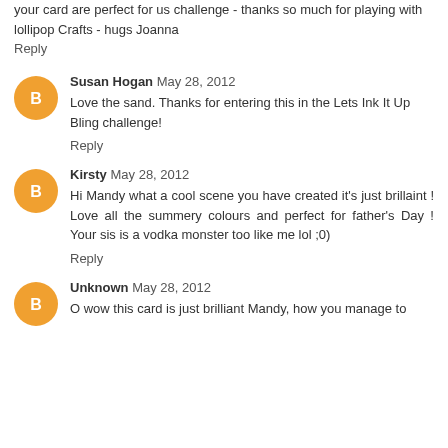your card are perfect for us challenge - thanks so much for playing with lollipop Crafts - hugs Joanna
Reply
Susan Hogan May 28, 2012
Love the sand. Thanks for entering this in the Lets Ink It Up Bling challenge!
Reply
Kirsty May 28, 2012
Hi Mandy what a cool scene you have created it's just brillaint ! Love all the summery colours and perfect for father's Day ! Your sis is a vodka monster too like me lol ;0)
Reply
Unknown May 28, 2012
O wow this card is just brilliant Mandy, how you manage to